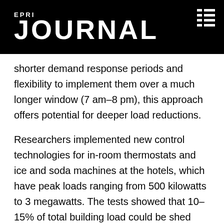EPRI JOURNAL
shorter demand response periods and flexibility to implement them over a much longer window (7 am–8 pm), this approach offers potential for deeper load reductions.
Researchers implemented new control technologies for in-room thermostats and ice and soda machines at the hotels, which have peak loads ranging from 500 kilowatts to 3 megawatts. The tests showed that 10–15% of total building load could be shed during fast demand response, with a total load reduction of up to 1 megawatt. The primary reduction came from the chillers;